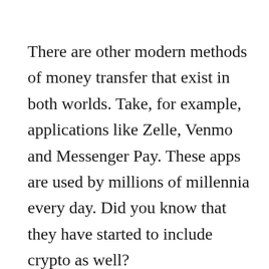There are other modern methods of money transfer that exist in both worlds. Take, for example, applications like Zelle, Venmo and Messenger Pay. These apps are used by millions of millennia every day. Did you know that they have started to include crypto as well?
The Square Cash app now has Bitcoin, and CEO Jack Dorsey says: “Bitcoin, for us, is not stopping buying and selling. We believe it